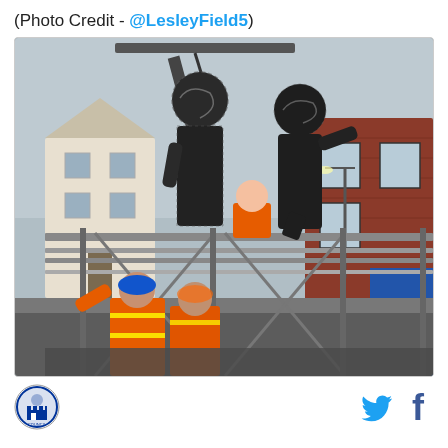(Photo Credit - @LesleyField5)
[Figure (photo): Construction workers in orange high-visibility jackets working at ground level near a metal security fence, while dark-coloured wrapped statues or figures are being installed on top of the fence using a crane, with residential and commercial buildings visible in the background.]
[Figure (logo): Circular council or organisation logo with a building/castle motif]
[Figure (other): Twitter bird icon (social media share button)]
[Figure (other): Facebook 'f' icon (social media share button)]